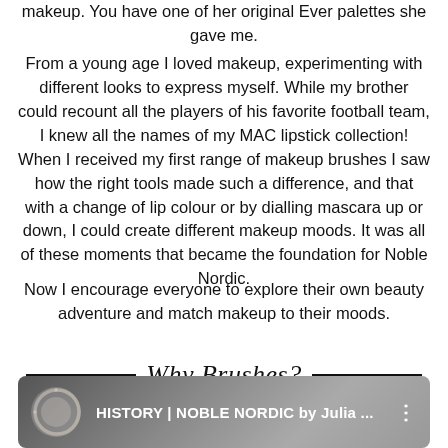makeup. You have one of her original Ever palettes she gave me.
From a young age I loved makeup, experimenting with different looks to express myself. While my brother could recount all the players of his favorite football team, I knew all the names of my MAC lipstick collection! When I received my first range of makeup brushes I saw how the right tools made such a difference, and that with a change of lip colour or by dialling mascara up or down, I could create different makeup moods. It was all of these moments that became the foundation for Noble Nordic.
Now I encourage everyone to explore their own beauty adventure and match makeup to their moods.
Why Brushes?
[Figure (screenshot): Video thumbnail showing 'HISTORY | NOBLE NORDIC by Julia ...' with a circular logo icon and three-dot menu]